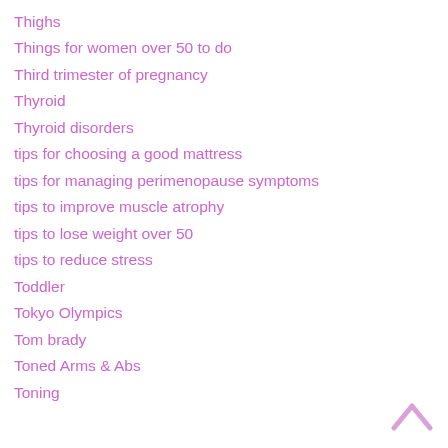Thighs
Things for women over 50 to do
Third trimester of pregnancy
Thyroid
Thyroid disorders
tips for choosing a good mattress
tips for managing perimenopause symptoms
tips to improve muscle atrophy
tips to lose weight over 50
tips to reduce stress
Toddler
Tokyo Olympics
Tom brady
Toned Arms & Abs
Toning